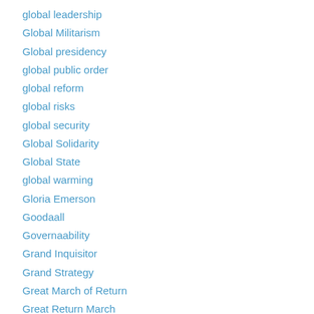global leadership
Global Militarism
Global presidency
global public order
global reform
global risks
global security
Global Solidarity
Global State
global warming
Gloria Emerson
Goodaall
Governaability
Grand Inquisitor
Grand Strategy
Great March of Return
Great Return March
Great Transition Network
Great Transition Network (GTN)
Greta Thunberg